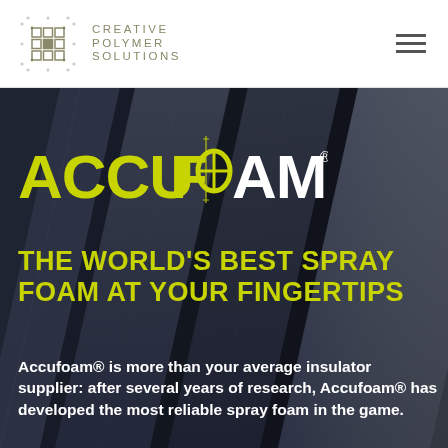[Figure (logo): Creative Polymer Solutions logo with geometric grid icon and text CREATIVE POLYMER SOLUTIONS]
[Figure (photo): Dark blue-tinted aerial/diagonal photograph of spray foam insulation panels or roofing boards serving as hero background]
ACCUFOAM®
THE WORLD'S BEST SPRAY FOAM AT YOUR FINGERTIPS
Accufoam® is more than your average insulator supplier: after several years of research, Accufoam® has developed the most reliable spray foam in the game.